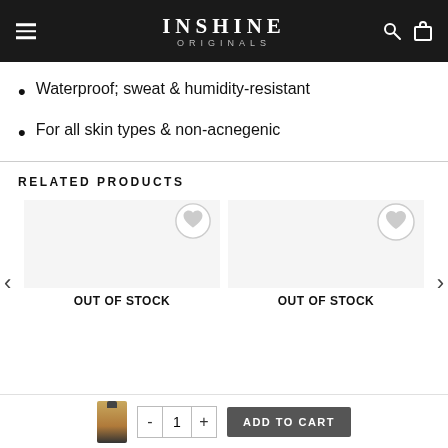INSHINE ORIGINALS
Waterproof; sweat & humidity-resistant
For all skin types & non-acnegenic
RELATED PRODUCTS
[Figure (screenshot): Two product cards each labeled OUT OF STOCK with wishlist heart icons, flanked by left and right navigation arrows]
[Figure (screenshot): Bottom sticky bar with product thumbnail, quantity selector showing 1, and ADD TO CART button]